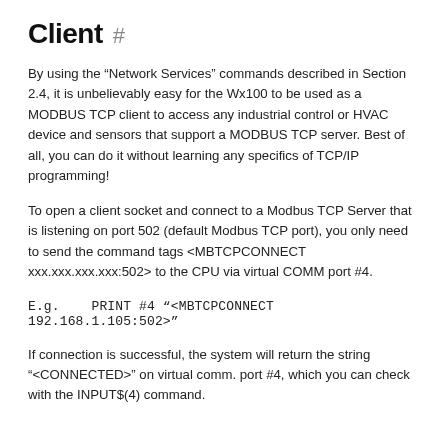Client #
By using the “Network Services” commands described in Section 2.4, it is unbelievably easy for the Wx100 to be used as a MODBUS TCP client to access any industrial control or HVAC device and sensors that support a MODBUS TCP server. Best of all, you can do it without learning any specifics of TCP/IP programming!
To open a client socket and connect to a Modbus TCP Server that is listening on port 502 (default Modbus TCP port), you only need to send the command tags <MBTCPCONNECT xxx.xxx.xxx.xxx:502> to the CPU via virtual COMM port #4.
E.g.   PRINT #4 "<MBTCPCONNECT 192.168.1.105:502>"
If connection is successful, the system will return the string "<CONNECTED>" on virtual comm. port #4, which you can check with the INPUT$(4) command.